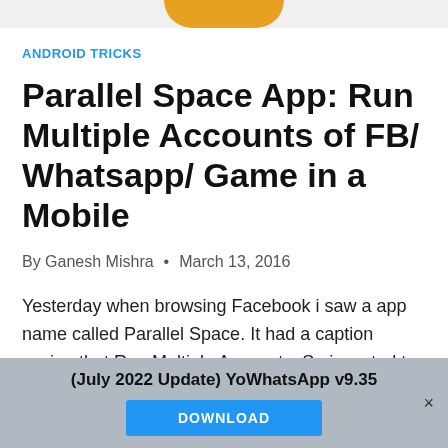[Figure (illustration): Orange rounded shape (app logo or graphic) partially visible at top center of page]
ANDROID TRICKS
Parallel Space App: Run Multiple Accounts of FB/ Whatsapp/ Game in a Mobile
By Ganesh Mishra • March 13, 2016
Yesterday when browsing Facebook i saw a app name called Parallel Space. It had a caption saying that Run Multiple Accounts. So i wanted to try it. Then i installed the Parallel Space app
(July 2022 Update) YoWhatsApp v9.35 DOWNLOAD ×